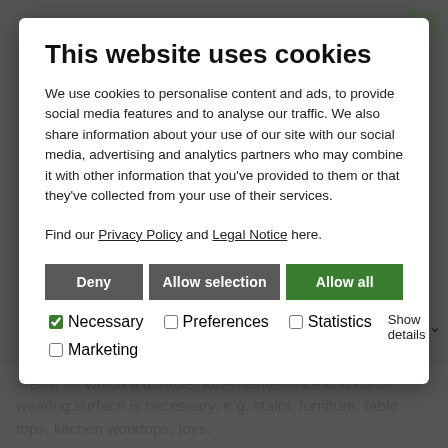This website uses cookies
We use cookies to personalise content and ads, to provide social media features and to analyse our traffic. We also share information about your use of our site with our social media, advertising and analytics partners who may combine it with other information that you've provided to them or that they've collected from your use of their services.
Find our Privacy Policy and Legal Notice here.
Deny | Allow selection | Allow all
☑ Necessary  ☐ Preferences  ☐ Statistics  Show details ∨
☐ Marketing
areas, for which a durable, low-maintenance and hard-wearing surface is necessary, e.g. stairs, furniture, table tops, kitchen worktops, toys.